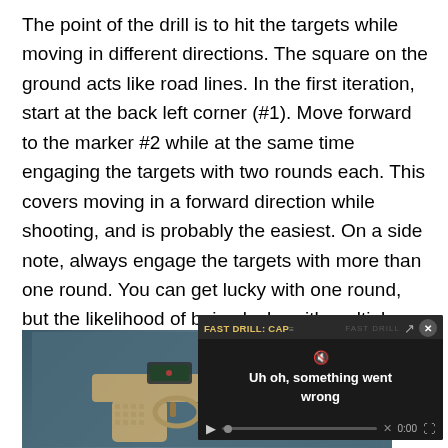The point of the drill is to hit the targets while moving in different directions. The square on the ground acts like road lines. In the first iteration, start at the back left corner (#1). Move forward to the marker #2 while at the same time engaging the targets with two rounds each. This covers moving in a forward direction while shooting, and is probably the easiest. On a side note, always engage the targets with more than one round. You can get lucky with one round, but the likelihood of being lucky with multiple rounds is slim. This is the way to consistency.
[Figure (photo): Photo of a tan/gold handgun with a red dot sight, shown against a blue-grey background. A video player overlay is present in the bottom-right showing an error message 'Uh oh, something went wrong' for a video titled 'FAST DRILL: CAP...']